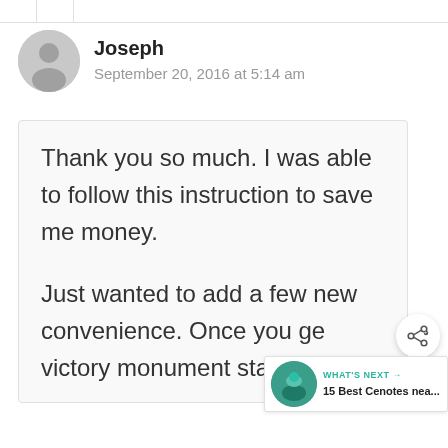Joseph
September 20, 2016 at 5:14 am
Thank you so much. I was able to follow this instruction to save me money.

Just wanted to add a few new convenience. Once you ge victory monument station,